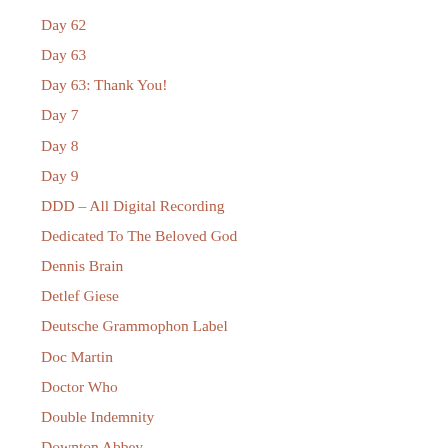Day 62
Day 63
Day 63: Thank You!
Day 7
Day 8
Day 9
DDD – All Digital Recording
Dedicated To The Beloved God
Dennis Brain
Detlef Giese
Deutsche Grammophon Label
Doc Martin
Doctor Who
Double Indemnity
Downton Abbey